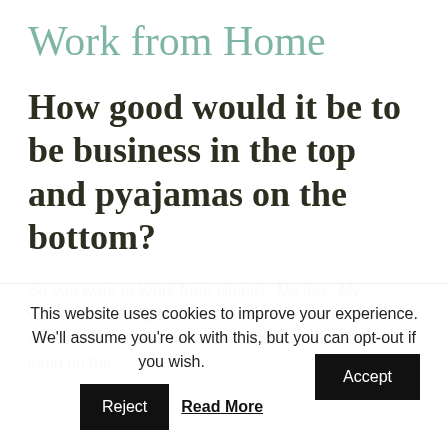Work from Home
How good would it be to be business in the top and pyajamas on the bottom?
So you want to Work from Home?  Me too.  My weekday mornings consist of up in the morning to try to get two (2) kids ready and the door to care.  Then I jump on the
This website uses cookies to improve your experience. We'll assume you're ok with this, but you can opt-out if you wish.
Accept
Reject
Read More